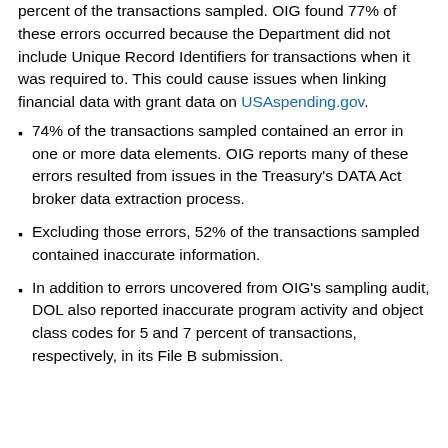percent of the transactions sampled. OIG found 77% of these errors occurred because the Department did not include Unique Record Identifiers for transactions when it was required to. This could cause issues when linking financial data with grant data on USAspending.gov.
74% of the transactions sampled contained an error in one or more data elements. OIG reports many of these errors resulted from issues in the Treasury's DATA Act broker data extraction process.
Excluding those errors, 52% of the transactions sampled contained inaccurate information.
In addition to errors uncovered from OIG's sampling audit, DOL also reported inaccurate program activity and object class codes for 5 and 7 percent of transactions, respectively, in its File B submission.